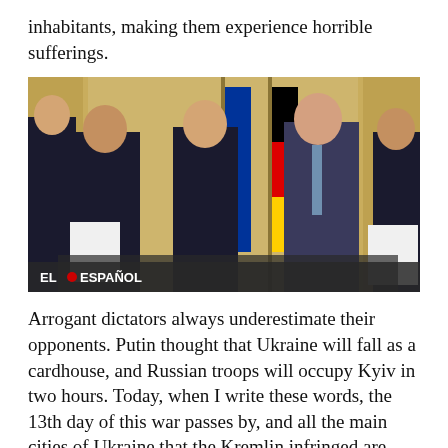inhabitants, making them experience horrible sufferings.
[Figure (photo): Group of men in formal dark suits standing indoors near flags including European Union flag and German flag. A watermark reads EL ESPAÑOL in the bottom left corner.]
Arrogant dictators always underestimate their opponents. Putin thought that Ukraine will fall as a cardhouse, and Russian troops will occupy Kyiv in two hours. Today, when I write these words, the 13th day of this war passes by, and all the main cities of Ukraine that the Kremlin infringed are